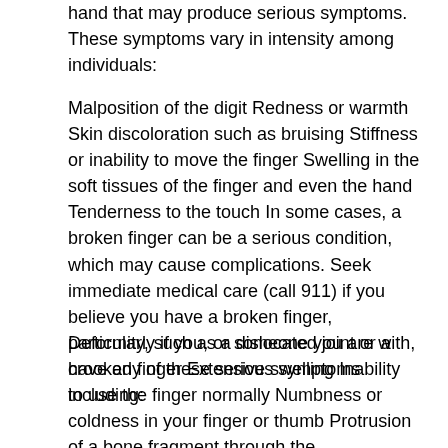hand that may produce serious symptoms. These symptoms vary in intensity among individuals:
Malposition of the digit Redness or warmth Skin discoloration such as bruising Stiffness or inability to move the finger Swelling in the soft tissues of the finger and even the hand Tenderness to the touch In some cases, a broken finger can be a serious condition, which may cause complications. Seek immediate medical care (call 911) if you believe you have a broken finger, particularly if you, or someone you are with, have any of these serious symptoms including:
Deformity, such as a dislocated joint or a crooked finger Extensive swelling Inability to use the finger normally Numbness or coldness in your finger or thumb Protrusion of a bone fragment through the